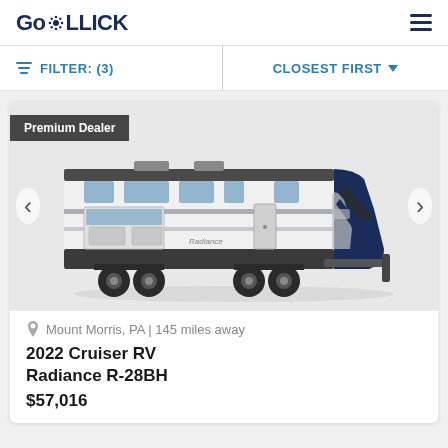GoROLLICK
FILTER: (3)   CLOSEST FIRST
[Figure (photo): Travel trailer RV (2022 Cruiser RV Radiance R-28BH) with white and black exterior, shown on a white background. Premium Dealer badge in top left corner. Navigation arrows on left and right sides.]
Mount Morris, PA | 145 miles away
2022 Cruiser RV Radiance R-28BH
$57,016